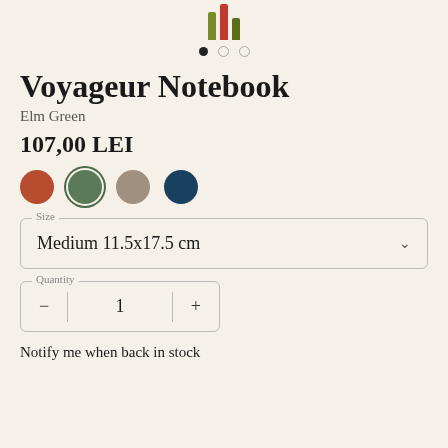[Figure (illustration): Notebook product image with colored spine stripes (olive green, red, dark olive) and carousel dot indicators (3 dots, first filled)]
Voyageur Notebook
Elm Green
107,00 LEI
[Figure (illustration): Four color swatches: terracotta/orange-red, elm green (selected with ring), taupe/gray, dark navy blue]
Size
Medium 11.5x17.5 cm
Quantity
1
Notify me when back in stock